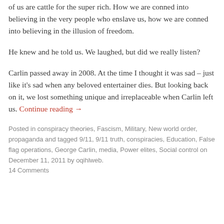of us are cattle for the super rich. How we are conned into believing in the very people who enslave us, how we are conned into believing in the illusion of freedom.
He knew and he told us. We laughed, but did we really listen?
Carlin passed away in 2008. At the time I thought it was sad – just like it's sad when any beloved entertainer dies. But looking back on it, we lost something unique and irreplaceable when Carlin left us. Continue reading →
Posted in conspiracy theories, Fascism, Military, New world order, propaganda and tagged 9/11, 9/11 truth, conspiracies, Education, False flag operations, George Carlin, media, Power elites, Social control on December 11, 2011 by oqihlweb. 14 Comments